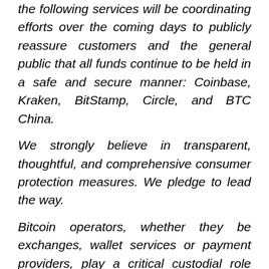the following services will be coordinating efforts over the coming days to publicly reassure customers and the general public that all funds continue to be held in a safe and secure manner: Coinbase, Kraken, BitStamp, Circle, and BTC China.
We strongly believe in transparent, thoughtful, and comprehensive consumer protection measures. We pledge to lead the way.
Bitcoin operators, whether they be exchanges, wallet services or payment providers, play a critical custodial role over the bitcoin they hold as assets for their customers. Acting as a custodian should require a high-bar, including appropriate security safeguards that are independently audited and tested on a regular basis, adequate balance